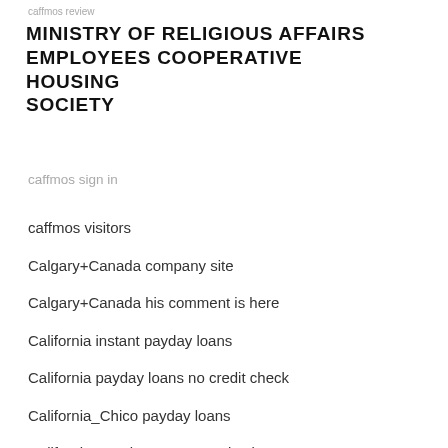caffmos review
MINISTRY OF RELIGIOUS AFFAIRS EMPLOYEES COOPERATIVE HOUSING SOCIETY
caffmos sign in
caffmos visitors
Calgary+Canada company site
Calgary+Canada his comment is here
California instant payday loans
California payday loans no credit check
California_Chico payday loans
California_Garden Grove payday loans
California_Huntington Beach payday loans
California_Moreno Valley payday loans